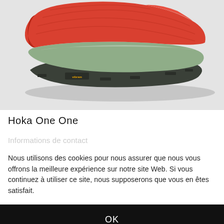[Figure (photo): Close-up photo of the sole of a Hoka One One running shoe. The shoe has a red/orange upper and a sage green midsole with dark grey lugged outsole. A Vibram logo label is visible on the outsole. The background is light grey.]
Hoka One One
Informations de contact
Nous utilisons des cookies pour nous assurer que nous vous offrons la meilleure expérience sur notre site Web. Si vous continuez à utiliser ce site, nous supposerons que vous en êtes satisfait.
OK